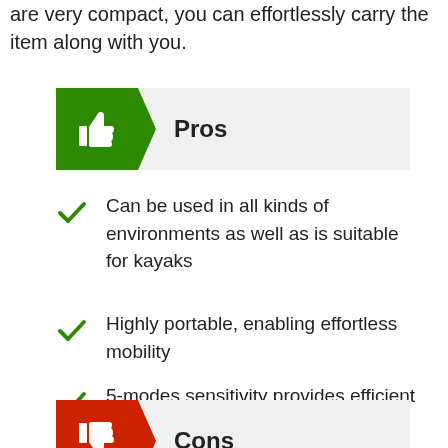are very compact, you can effortlessly carry the item along with you.
Pros
Can be used in all kinds of environments as well as is suitable for kayaks
Highly portable, enabling effortless mobility
5-modes sensitivity provides efficient and optimum fish finding
Cons